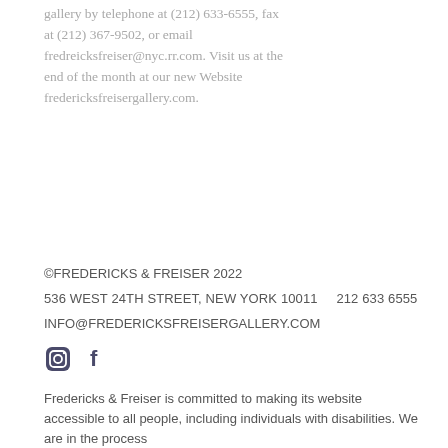gallery by telephone at (212) 633-6555, fax at (212) 367-9502, or email fredreicksfreiser@nyc.rr.com. Visit us at the end of the month at our new Website fredericksfreisergallery.com.
©FREDERICKS & FREISER 2022
536 WEST 24TH STREET, NEW YORK 10011     212 633 6555
INFO@FREDERICKSFREISERGALLERY.COM
Fredericks & Freiser is committed to making its website accessible to all people, including individuals with disabilities. We are in the process